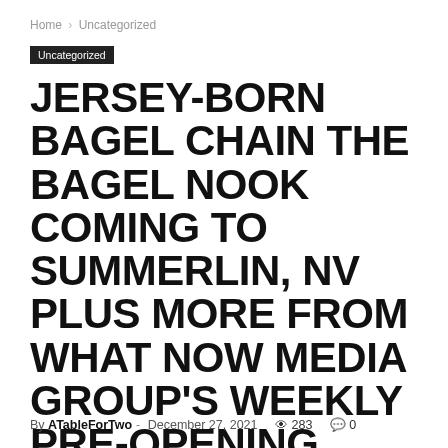Home › Uncategorized
Uncategorized
JERSEY-BORN BAGEL CHAIN THE BAGEL NOOK COMING TO SUMMERLIN, NV PLUS MORE FROM WHAT NOW MEDIA GROUP'S WEEKLY PRE-OPENING RESTAURANT NEWS REPORT
By ATableForTwo - December 27, 2021  👁 283  💬 0